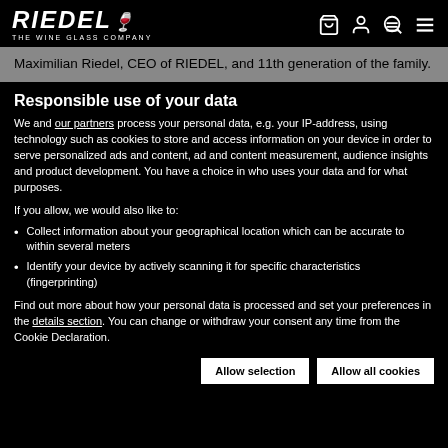RIEDEL THE WINE GLASS COMPANY
Maximilian Riedel, CEO of RIEDEL, and 11th generation of the family.
Responsible use of your data
We and our partners process your personal data, e.g. your IP-address, using technology such as cookies to store and access information on your device in order to serve personalized ads and content, ad and content measurement, audience insights and product development. You have a choice in who uses your data and for what purposes.
If you allow, we would also like to:
Collect information about your geographical location which can be accurate to within several meters
Identify your device by actively scanning it for specific characteristics (fingerprinting)
Find out more about how your personal data is processed and set your preferences in the details section. You can change or withdraw your consent any time from the Cookie Declaration.
Allow selection
Allow all cookies